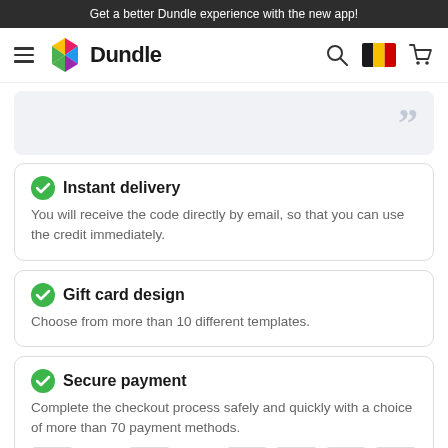Get a better Dundle experience with the new app!
[Figure (logo): Dundle logo with colorful hexagon icon and navigation bar including search, Belgium flag, and cart icon]
[Figure (other): Light grey box with large quotation marks on the right]
Instant delivery
You will receive the code directly by email, so that you can use the credit immediately.
Gift card design
Choose from more than 10 different templates.
Secure payment
Complete the checkout process safely and quickly with a choice of more than 70 payment methods.
[Figure (other): Row of payment method icons including bank transfer, iDEAL, Visa/Mastercard, phone, iDEAL, Apple Pay, crypto, PayPal]